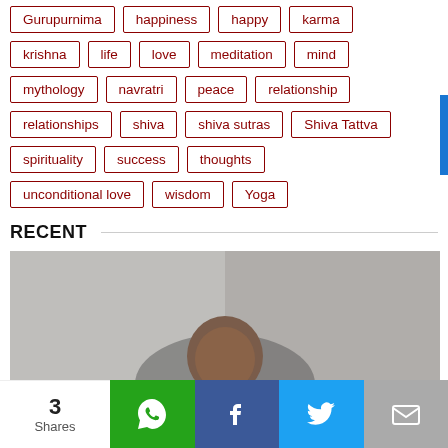Gurupurnima
happiness
happy
karma
krishna
life
love
meditation
mind
mythology
navratri
peace
relationship
relationships
shiva
shiva sutras
Shiva Tattva
spirituality
success
thoughts
unconditional love
wisdom
Yoga
RECENT
[Figure (photo): Person in grey/mottled background setting, social share bar at bottom with WhatsApp, Facebook, Twitter, Email buttons and 3 Shares count]